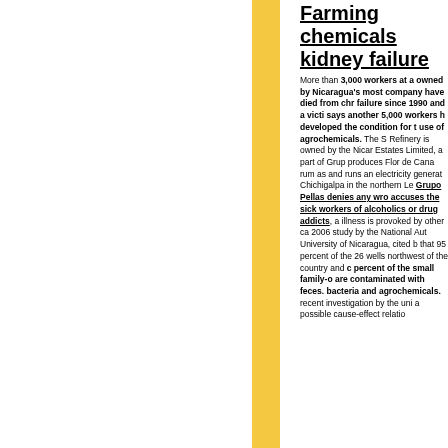Farming chemicals kidney failure
More than 3,000 workers at a owned by Nicaragua's most company have died from chr failure since 1990 and a victi says another 5,000 workers h developed the condition for t use of agrochemicals. The S Refinery is owned by the Nicar Estates Limited, a part of Grup produces Flor de Cana rum as and runs an electricity generat Chichigalpa in the northern Le Grupo Pellas denies any wro accuses the sick workers of alcoholics or drug addicts, a illness is provoked by other ca 2006 study by the National Aut University of Nicaragua, cited b that 95 percent of the 26 wells northwest of the country and c percent of the small family-o are contaminated with feces. bacteria and agrochemicals. recent investigation by the uni a possible cause-effect relatio